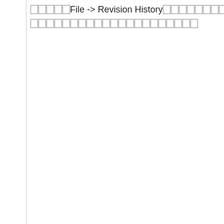□□□□□File -> Revision History□□□□□□□□□□□□All changes saved□□□□□□□□□□□□□□□□□□□□